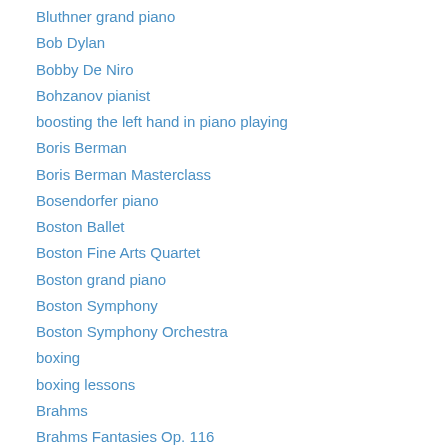Bluthner grand piano
Bob Dylan
Bobby De Niro
Bohzanov pianist
boosting the left hand in piano playing
Boris Berman
Boris Berman Masterclass
Bosendorfer piano
Boston Ballet
Boston Fine Arts Quartet
Boston grand piano
Boston Symphony
Boston Symphony Orchestra
boxing
boxing lessons
Brahms
Brahms Fantasies Op. 116
Brahms Intermezzo Op. 118 no. 2
breathing and piano lessons
Brian Ganz